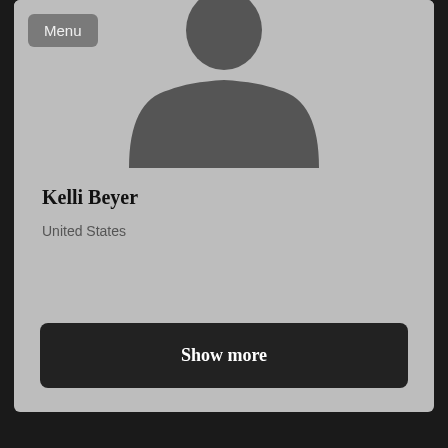[Figure (illustration): Generic user profile silhouette — grey bust/shoulders avatar on light grey background]
Kelli Beyer
United States
Show more